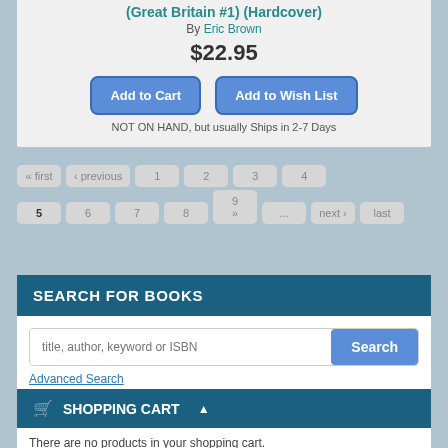(Great Britain #1) (Hardcover)
By Eric Brown
$22.95
NOT ON HAND, but usually Ships in 2-7 Days
« first ‹ previous 1 2 3 4 5 6 7 8 9 ... next › last »
SEARCH FOR BOOKS
title, author, keyword or ISBN
Advanced Search
SHOPPING CART
There are no products in your shopping cart.
0 Items    Total: $0.00